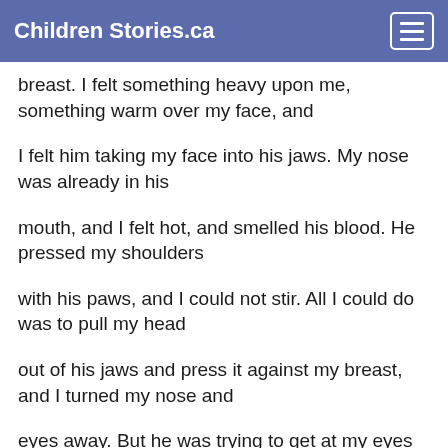Children Stories.ca
breast. I felt something heavy upon me, something warm over my face, and
I felt him taking my face into his jaws. My nose was already in his
mouth, and I felt hot, and smelled his blood. He pressed my shoulders
with his paws, and I could not stir. All I could do was to pull my head
out of his jaws and press it against my breast, and I turned my nose and
eyes away. But he was trying to get at my eyes and nose. I felt him